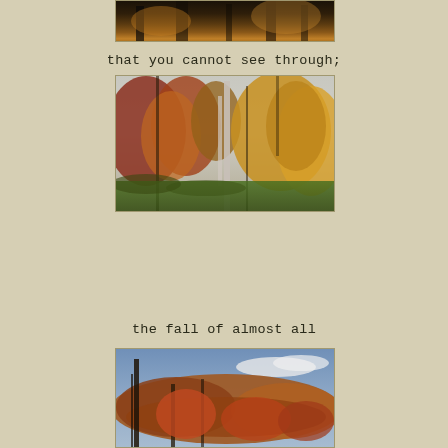that you cannot see through;
[Figure (photo): Autumn forest scene with dense dark foliage, showing a canopy of fall-colored leaves in deep tones of orange, brown and dark green]
the fall of almost all
[Figure (photo): Autumn woodland scene with colorful trees displaying red, orange, yellow and golden fall foliage against bare branches, with green grass at the bottom]
[Figure (photo): Late autumn forest with bare trees and remaining orange-red foliage against a blue sky with clouds]